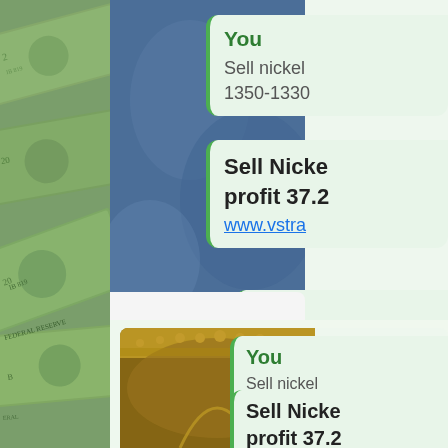[Figure (screenshot): Screenshot of a chat message showing 'You' sender with text 'Sell nickel 1350-1330' and 'Sell Nickel profit 37.2 www.vstr...' with a blue background image]
[Figure (screenshot): Second screenshot of same chat showing 'You' sender with text 'Sell nickel 1350-1330' and 'Sell Nickel profit 37.2' with ornate gold background image]
[Figure (photo): Background photo of US dollar bills fanned out on left side of page]